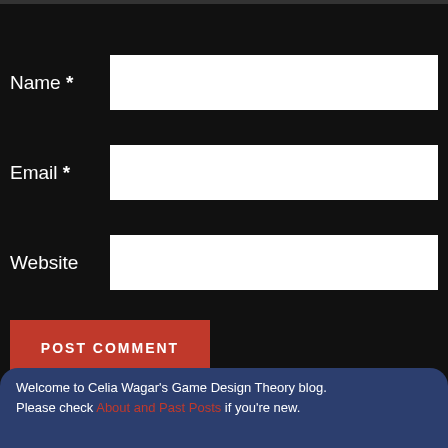Name *
Email *
Website
POST COMMENT
Notify me of new comments via email.
Notify me of new posts via email.
Welcome to Celia Wagar's Game Design Theory blog. Please check About and Past Posts if you're new.